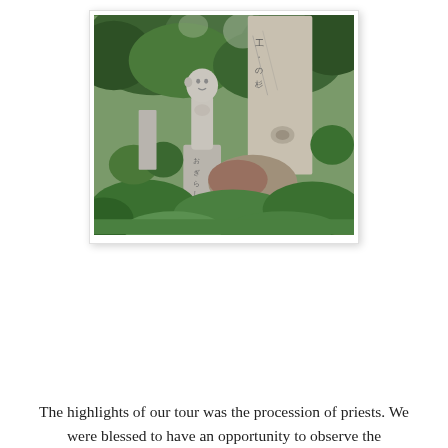[Figure (photo): A stone Buddhist statue (jizo) on a pedestal with Japanese characters inscribed on it, surrounded by green foliage and plants. A large stone monument/stele stands behind it. The setting appears to be a Japanese temple or cemetery garden.]
The highlights of our tour was the procession of priests. We were blessed to have an opportunity to observe the